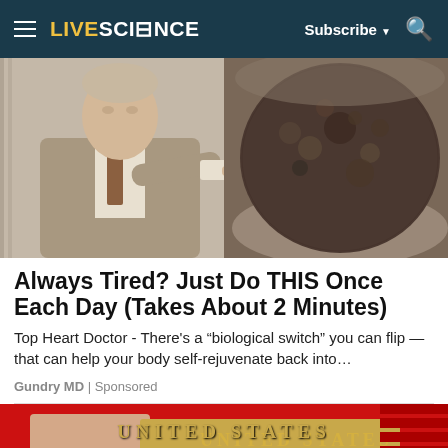LIVE SCIENCE | Subscribe | Search
[Figure (photo): Man in grey suit pointing at a bubbling pot of dark liquid]
Always Tired? Just Do THIS Once Each Day (Takes About 2 Minutes)
Top Heart Doctor - There’s a “biological switch” you can flip — that can help your body self-rejuvenate back into…
Gundry MD | Sponsored
[Figure (photo): Partial view of a United States passport on a red background]